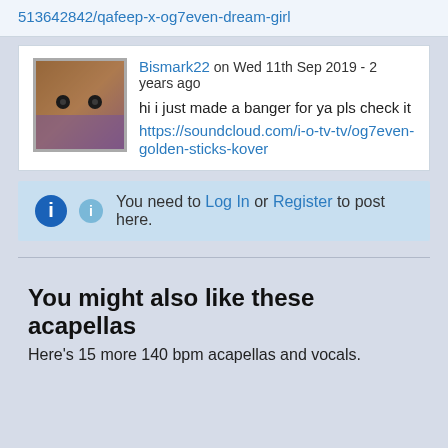513642842/qafeep-x-og7even-dream-girl
Bismark22 on Wed 11th Sep 2019 - 2 years ago
hi i just made a banger for ya pls check it
https://soundcloud.com/i-o-tv-tv/og7even-golden-sticks-kover
You need to Log In or Register to post here.
You might also like these acapellas
Here's 15 more 140 bpm acapellas and vocals.